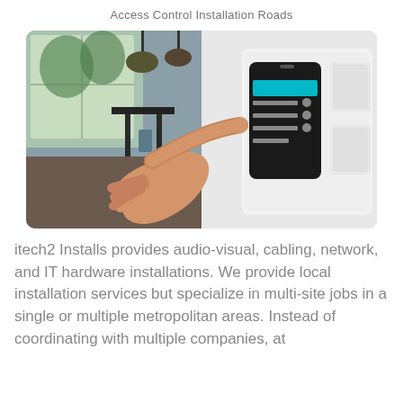Access Control Installation Roads
[Figure (photo): A hand with a finger pointing at a wall-mounted smart home control panel. The panel is white and contains a touchscreen display showing a menu with teal highlights and several physical buttons. To the right are two white square switch plates. The background shows a modern dining area with large windows and trees outside.]
itech2 Installs provides audio-visual, cabling, network, and IT hardware installations. We provide local installation services but specialize in multi-site jobs in a single or multiple metropolitan areas. Instead of coordinating with multiple companies, at